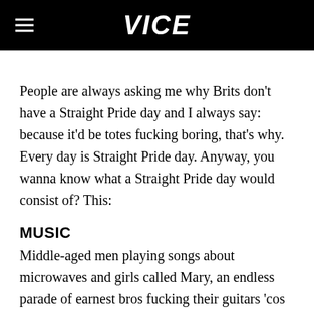VICE
People are always asking me why Brits don't have a Straight Pride day and I always say: because it'd be totes fucking boring, that's why. Every day is Straight Pride day. Anyway, you wanna know what a Straight Pride day would consist of? This:
MUSIC
Middle-aged men playing songs about microwaves and girls called Mary, an endless parade of earnest bros fucking their guitars 'cos they're too afraid to fuck each other's bums